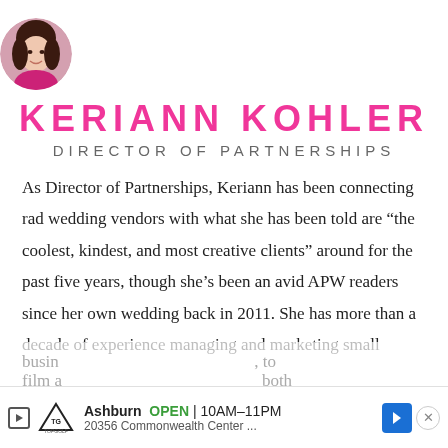[Figure (photo): Circular profile photo of Keriann Kohler, a woman with dark hair wearing a magenta/pink top]
KERIANN KOHLER
DIRECTOR OF PARTNERSHIPS
As Director of Partnerships, Keriann has been connecting rad wedding vendors with what she has been told are “the coolest, kindest, and most creative clients” around for the past five years, though she’s been an avid APW readers since her own wedding back in 2011. She has more than a decade of experience managing and marketing small businesses to film a... both
[Figure (screenshot): Advertisement bar for Topgolf Ashburn: OPEN 10AM-11PM, 20356 Commonwealth Center..., with navigation arrow and close button]